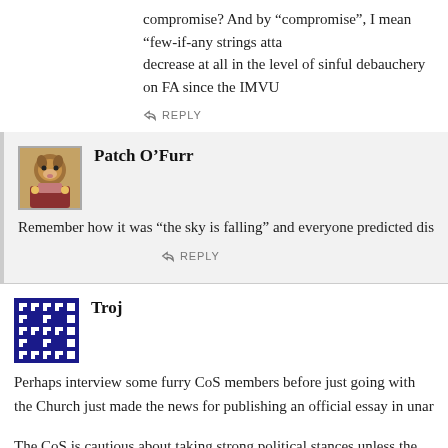compromise? And by “compromise”, I mean “few-if-any strings atta... decrease at all in the level of sinful debauchery on FA since the IMVU...
REPLY
Patch O’Furr
Remember how it was “the sky is falling” and everyone predicted dis...
REPLY
Troj
Perhaps interview some furry CoS members before just going with ... the Church just made the news for publishing an official essay in unar...
The CoS is cautious about taking strong political stances unless the... wants its members to be able exercise freedom of conscience. That th... led to the misconception that the organization itself is fascist or right-...